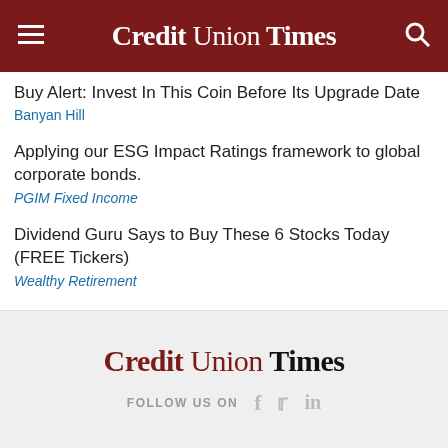Credit Union Times
Buy Alert: Invest In This Coin Before Its Upgrade Date
Banyan Hill
Applying our ESG Impact Ratings framework to global corporate bonds.
PGIM Fixed Income
Dividend Guru Says to Buy These 6 Stocks Today (FREE Tickers)
Wealthy Retirement
Opening the door to closed-end funds
Credit Union Times
FOLLOW US ON